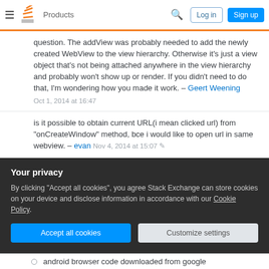Stack Overflow navigation bar with Products, Log in, Sign up
question. The addView was probably needed to add the newly created WebView to the view hierarchy. Otherwise it's just a view object that's not being attached anywhere in the view hierarchy and probably won't show up or render. If you didn't need to do that, I'm wondering how you made it work. – Geert Weening Oct 1, 2014 at 16:47
is it possible to obtain current URL(i mean clicked url) from "onCreateWindow" method, bce i would like to open url in same webview. – evan Nov 4, 2014 at 15:07
When do you remove the view,if ever? :) – rogerdpack
Your privacy
By clicking "Accept all cookies", you agree Stack Exchange can store cookies on your device and disclose information in accordance with our Cookie Policy.
Accept all cookies | Customize settings
android browser code downloaded from google